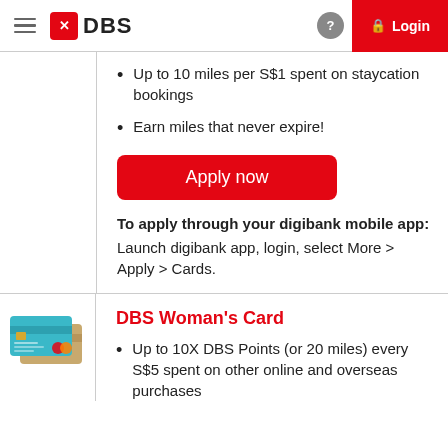DBS Login
Up to 10 miles per S$1 spent on staycation bookings
Earn miles that never expire!
Apply now
To apply through your digibank mobile app: Launch digibank app, login, select More > Apply > Cards.
[Figure (illustration): DBS Woman's Card credit card image showing two overlapping cards — a teal/blue card and a gold card with Mastercard logo]
DBS Woman's Card
Up to 10X DBS Points (or 20 miles) every S$5 spent on other online and overseas purchases